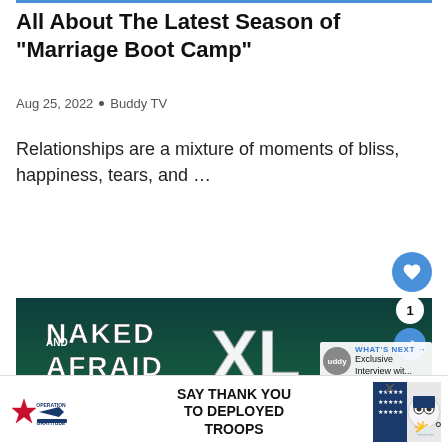All About The Latest Season of “Marriage Boot Camp”
Aug 25, 2022 • Buddy TV
Relationships are a mixture of moments of bliss, happiness, tears, and …
[Figure (screenshot): Screenshot of a webpage showing article about Marriage Boot Camp with a promotional image for Naked and Afraid XL: Next Level below, and an Operation Gratitude advertisement banner at the bottom.]